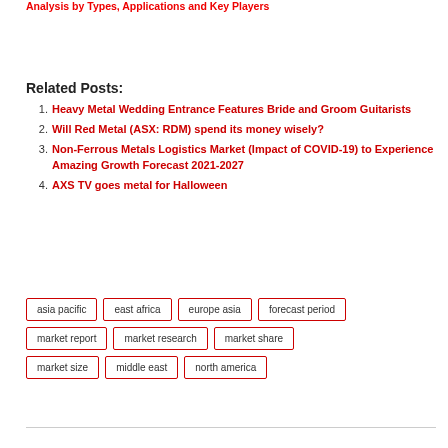Analysis by Types, Applications and Key Players
Related Posts:
Heavy Metal Wedding Entrance Features Bride and Groom Guitarists
Will Red Metal (ASX: RDM) spend its money wisely?
Non-Ferrous Metals Logistics Market (Impact of COVID-19) to Experience Amazing Growth Forecast 2021-2027
AXS TV goes metal for Halloween
asia pacific  east africa  europe asia  forecast period  market report  market research  market share  market size  middle east  north america